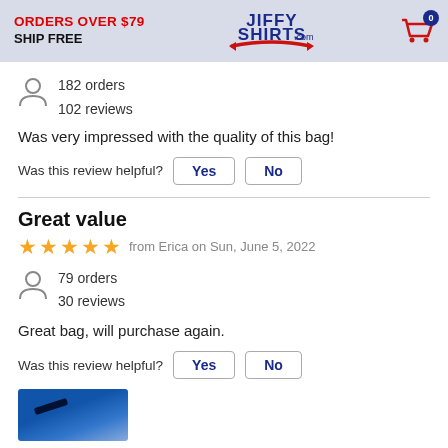ORDERS OVER $79 SHIP FREE | JiffyShirts.com | Cart: 0
182 orders
102 reviews
Was very impressed with the quality of this bag!
Was this review helpful? Yes  No
Great value
★★★★★ from Erica on Sun, June 5, 2022
79 orders
30 reviews
Great bag, will purchase again.
Was this review helpful? Yes  No
[Figure (photo): Partial view of a blue bag with black strap at bottom of page]